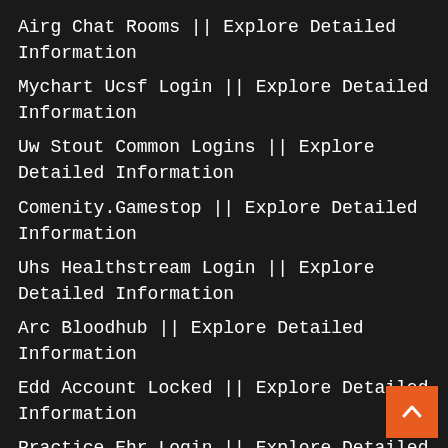Airg Chat Rooms || Explore Detailed Information
Mychart Ucsf Login || Explore Detailed Information
Uw Stout Common Logins || Explore Detailed Information
Comenity.Gamestop || Explore Detailed Information
Uhs Healthstream Login || Explore Detailed Information
Arc Bloodhub || Explore Detailed Information
Edd Account Locked || Explore Detailed Information
Practice Ehr Login || Explore Detailed Information
Suresmile Login || Explore Detailed Information
Davis Edge Login || Explore Detailed Information
Astound Webmail || Explore Detailed Information
Mha Characters Zodiac Signs || Explore Detailed Information
Hugosway Login || Explore Detailed Information
School Loop Cohs || Explore Detailed Information
Ks-Hosting || Explore Detailed Information
Yjcfs.com Login || Explore Detailed Information